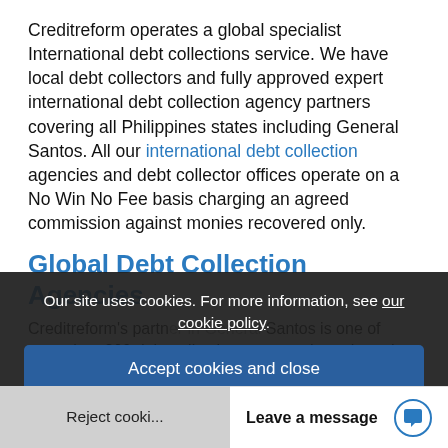Creditreform operates a global specialist International debt collections service. We have local debt collectors and fully approved expert international debt collection agency partners covering all Philippines states including General Santos. All our international debt collection agencies and debt collector offices operate on a No Win No Fee basis charging an agreed commission against monies recovered only.
Global Debt Collection Agencies
Creditreform's partner in General Santos is one of more than 200 debt collection partners throughout the world providing a debt collection service for the ... General Santos debt collector has many years experience in the field... Creditreform strict...
Our site uses cookies. For more information, see our cookie policy.
Accept cookies and close
Reject cooki...
Leave a message